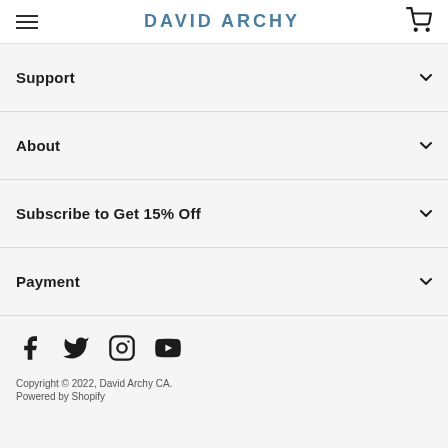DAVID ARCHY
Support
About
Subscribe to Get 15% Off
Payment
[Figure (other): Social media icons: Facebook, Twitter, Instagram, YouTube]
Copyright © 2022, David Archy CA.
Powered by Shopify